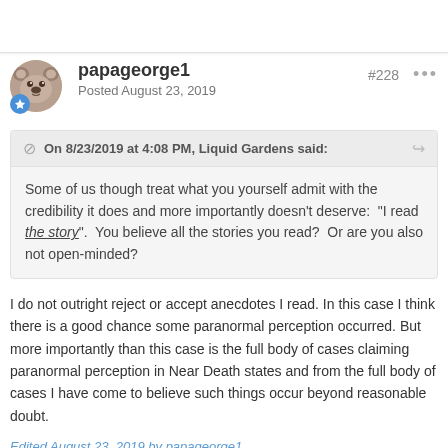papageorge1
Posted August 23, 2019
#228
On 8/23/2019 at 4:08 PM, Liquid Gardens said:
Some of us though treat what you yourself admit with the credibility it does and more importantly doesn't deserve: "I read the story". You believe all the stories you read? Or are you also not open-minded?
I do not outright reject or accept anecdotes I read. In this case I think there is a good chance some paranormal perception occurred. But more importantly than this case is the full body of cases claiming paranormal perception in Near Death states and from the full body of cases I have come to believe such things occur beyond reasonable doubt.
Edited August 23, 2019 by papageorge1